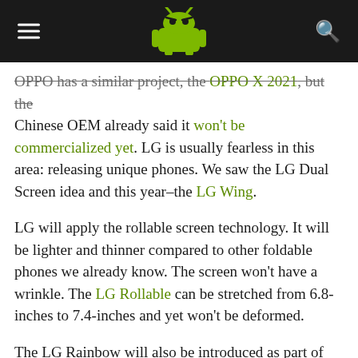AndroidAuthority logo header with menu and search icons
OPPO has a similar project, the OPPO X 2021, but the Chinese OEM already said it won't be commercialized yet. LG is usually fearless in this area: releasing unique phones. We saw the LG Dual Screen idea and this year–the LG Wing.
LG will apply the rollable screen technology. It will be lighter and thinner compared to other foldable phones we already know. The screen won't have a wrinkle. The LG Rollable can be stretched from 6.8-inches to 7.4-inches and yet won't be deformed.
The LG Rainbow will also be introduced as part of the Universal series. It will be LG Velvet's successor. It will be released in March as a bar-type phone, running a Snapdragon 888 processor and may also be offered with